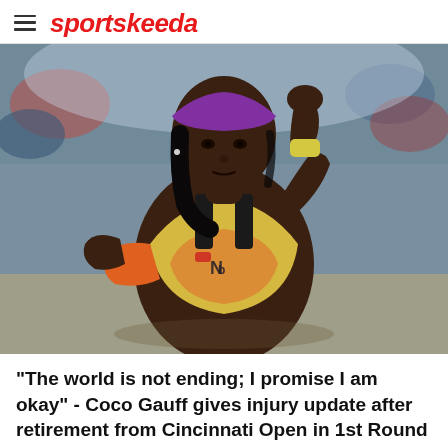sportskeeda
[Figure (photo): Coco Gauff, a young Black female tennis player, wearing a yellow and orange New Balance outfit with a purple headband and yellow wristband, looking focused with her fist raised near her face, against a blurred crowd background.]
"The world is not ending; I promise I am okay" - Coco Gauff gives injury update after retirement from Cincinnati Open in 1st Round